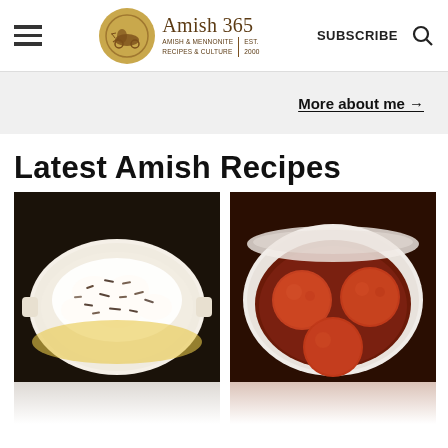Amish 365 — AMISH & MENNONITE RECIPES & CULTURE | EST. 2000 — SUBSCRIBE
More about me →
Latest Amish Recipes
[Figure (photo): Overhead view of a white ceramic baking dish with a dessert topped with whipped cream and shaved chocolate.]
[Figure (photo): Overhead view of a white bowl containing glazed meatballs or dumplings in a reddish-brown sauce.]